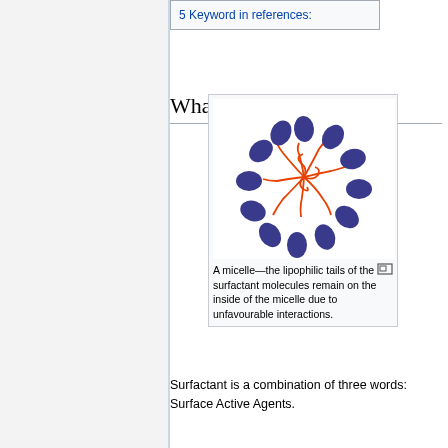5 Keyword in references:
What is surfactant
[Figure (illustration): A micelle diagram showing blue oval lipophilic heads arranged in a circle around orange/red tangled tails in the center, representing surfactant molecules in a micelle formation.]
A micelle—the lipophilic tails of the surfactant molecules remain on the inside of the micelle due to unfavourable interactions.
Surfactant is a combination of three words: Surface Active Agents.